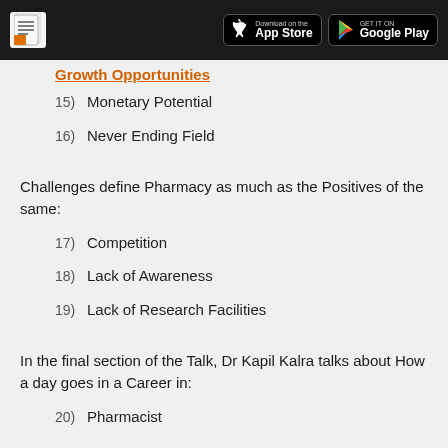Download on the App Store | GET IT ON Google Play
Growth Opportunities (truncated/continued)
15) Monetary Potential
16) Never Ending Field
Challenges define Pharmacy as much as the Positives of the same:
17) Competition
18) Lack of Awareness
19) Lack of Research Facilities
In the final section of the Talk, Dr Kapil Kalra talks about How a day goes in a Career in:
20) Pharmacist